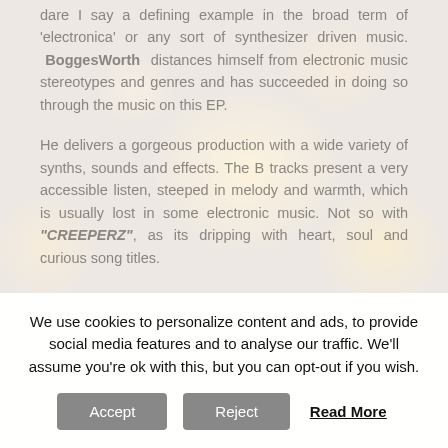dare I say a defining example in the broad term of 'electronica' or any sort of synthesizer driven music. BoggesWorth distances himself from electronic music stereotypes and genres and has succeeded in doing so through the music on this EP.

He delivers a gorgeous production with a wide variety of synths, sounds and effects. The B tracks present a very accessible listen, steeped in melody and warmth, which is usually lost in some electronic music. Not so with "CREEPERZ", as its dripping with heart, soul and curious song titles.
We use cookies to personalize content and ads, to provide social media features and to analyse our traffic. We'll assume you're ok with this, but you can opt-out if you wish.